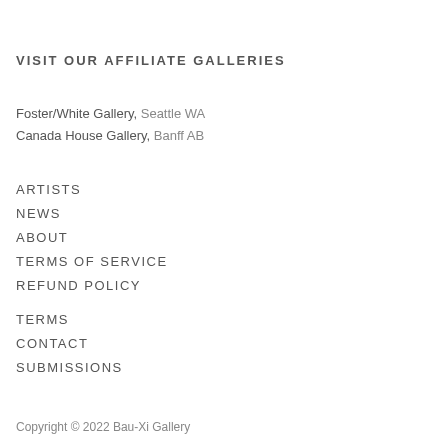VISIT OUR AFFILIATE GALLERIES
Foster/White Gallery, Seattle WA
Canada House Gallery, Banff AB
ARTISTS
NEWS
ABOUT
TERMS OF SERVICE
REFUND POLICY
TERMS
CONTACT
SUBMISSIONS
Copyright © 2022 Bau-Xi Gallery